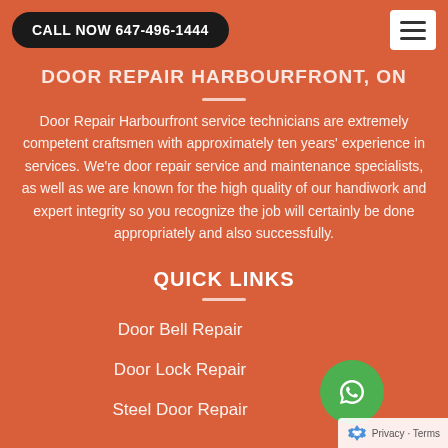CALL NOW 647-496-1444
DOOR REPAIR HARBOURFRONT, ON
Door Repair Harbourfront service technicians are extremely competent craftsmen with approximately ten years' experience in services. We're door repair service and maintenance specialists, as well as we are known for the high quality of our handiwork and expert integrity so you recognize the job will certainly be done appropriately and also successfully.
QUICK LINKS
Door Bell Repair
Door Lock Repair
Steel Door Repair
[Figure (logo): Green WhatsApp phone icon button]
Privacy · Terms